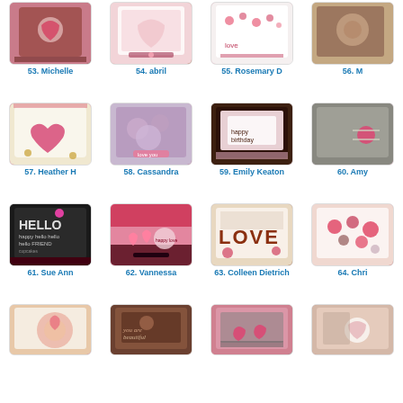[Figure (photo): Card thumbnail 53 - pink and brown decorative card]
53. Michelle
[Figure (photo): Card thumbnail 54 - light pink card]
54. abril
[Figure (photo): Card thumbnail 55 - pink floral card]
55. Rosemary D
[Figure (photo): Card thumbnail 56 - brown floral card (partially visible)]
56. M
[Figure (photo): Card thumbnail 57 - heart shaped pink card]
57. Heather H
[Figure (photo): Card thumbnail 58 - purple roses card]
58. Cassandra
[Figure (photo): Card thumbnail 59 - brown and pink card]
59. Emily Keaton
[Figure (photo): Card thumbnail 60 - grey with pink bow (partially visible)]
60. Amy
[Figure (photo): Card thumbnail 61 - HELLO stamped card]
61. Sue Ann
[Figure (photo): Card thumbnail 62 - pink hearts card]
62. Vannessa
[Figure (photo): Card thumbnail 63 - LOVE wooden letters card]
63. Colleen Dietrich
[Figure (photo): Card thumbnail 64 - pink buttons card (partially visible)]
64. Chri
[Figure (photo): Card thumbnail 65 - pink flower card]
[Figure (photo): Card thumbnail 66 - brown embossed card]
[Figure (photo): Card thumbnail 67 - pink and grey card]
[Figure (photo): Card thumbnail 68 - peach card (partially visible)]